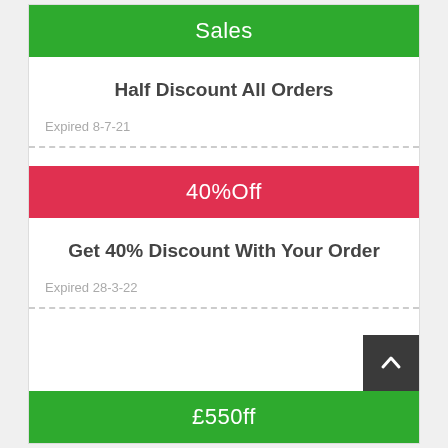Sales
Half Discount All Orders
Expired 8-7-21
40%Off
Get 40% Discount With Your Order
Expired 28-3-22
£550ff